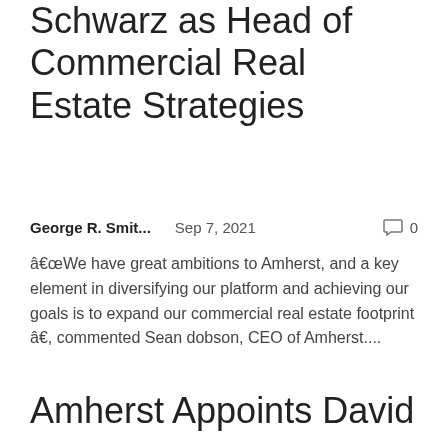Schwarz as Head of Commercial Real Estate Strategies
George R. Smit...    Sep 7, 2021    🗨 0
â€œWe have great ambitions to Amherst, and a key element in diversifying our platform and achieving our goals is to expand our commercial real estate footprint â€, commented Sean dobson, CEO of Amherst....
Amherst Appoints David